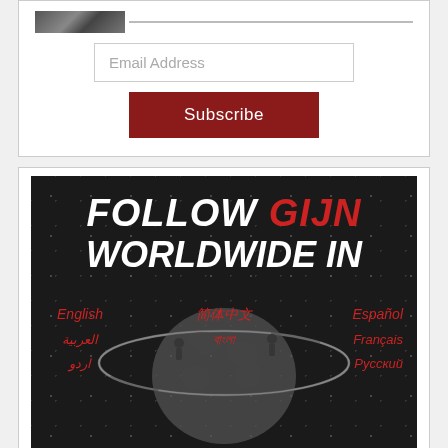[Figure (photo): Partial photo thumbnail at top left with horizontal line extending right]
Email Address
Subscribe
[Figure (infographic): Dark background banner reading 'FOLLOW GIJN WORLDWIDE IN' with languages listed: English, 简体中文, Español, العربية, বাংলা, Français, اردو, Русский. Globe silhouette with orbital ring in center.]